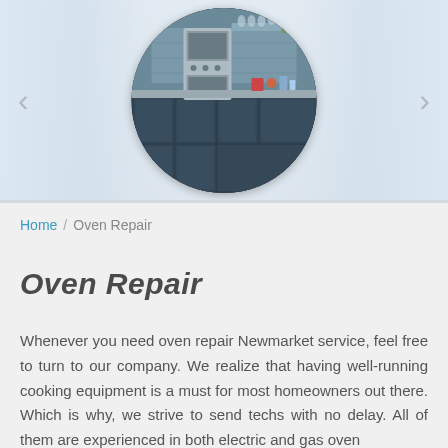[Figure (photo): Circular cropped photo of a modern kitchen with stainless steel ovens and dark cabinetry, displayed as a hero image with navigation arrows on a light blue-grey background]
Home / Oven Repair
Oven Repair
Whenever you need oven repair Newmarket service, feel free to turn to our company. We realize that having well-running cooking equipment is a must for most homeowners out there. Which is why, we strive to send techs with no delay. All of them are experienced in both electric and gas oven